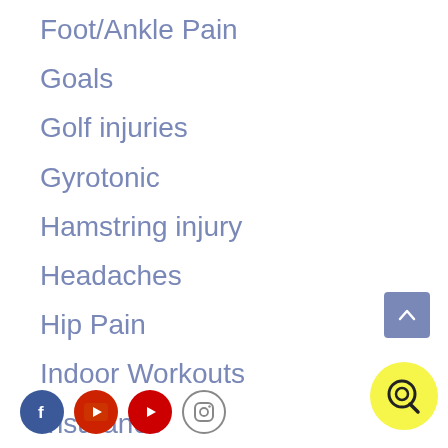Foot/Ankle Pain
Goals
Golf injuries
Gyrotonic
Hamstring injury
Headaches
Hip Pain
Indoor Workouts
Insurance
Knee Pain
[Figure (other): Social media icons bar: Facebook (blue), two YouTube icons (red), Instagram (grey outline)]
[Figure (other): Back to top arrow button (blue/grey square with upward chevron)]
[Figure (other): Yellow circular chat/Q button]